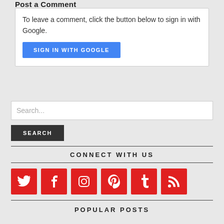Post a Comment
To leave a comment, click the button below to sign in with Google.
SIGN IN WITH GOOGLE
Search...
SEARCH
CONNECT WITH US
[Figure (infographic): Row of 6 red social media icons: Twitter, Facebook, Instagram, Pinterest, Tumblr, RSS]
POPULAR POSTS